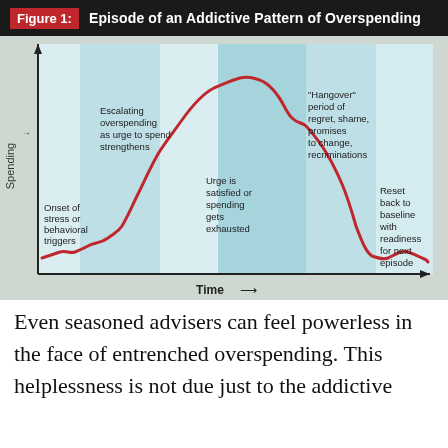[Figure (continuous-plot): A line chart showing the spending pattern during an addictive overspending episode. The x-axis is Time and the y-axis is Spending. The chart has colored vertical band regions. A red curve starts low (Onset of stress or behavioral triggers), rises steeply (Escalating overspending as urge to spend strengthens), peaks at the top (Urge is satisfied or spending gets exhausted), then enters a shaded region labeled 'Hangover' period of regret, shame, promises to change, recriminations, before declining back to baseline (Reset back to baseline with readiness for next episode).]
Even seasoned advisers can feel powerless in the face of entrenched overspending. This helplessness is not due just to the addictive